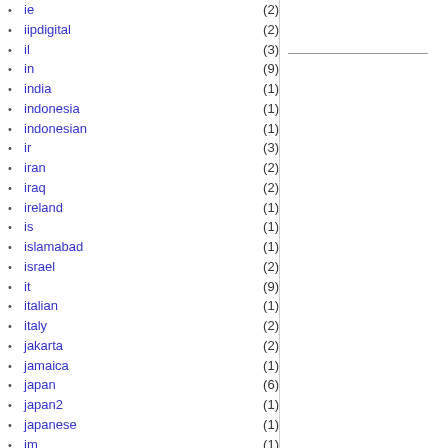ie (2)
iipdigital (2)
il (3)
in (9)
india (1)
indonesia (1)
indonesian (1)
ir (3)
iran (2)
iraq (2)
ireland (1)
is (1)
islamabad (1)
israel (2)
it (9)
italian (1)
italy (2)
jakarta (2)
jamaica (1)
japan (6)
japan2 (1)
japanese (1)
jm (1)
jo (3)
jordan (2)
jp (1)
jru-consulate (1)